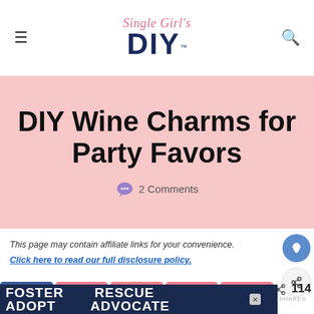Single Girl's DIY
DIY Wine Charms for Party Favors
2 Comments
This page may contain affiliate links for your convenience.
Click here to read our full disclosure policy.
[Figure (screenshot): Social share buttons bar: Facebook, Twitter, Pinterest, Reddit, Pocket icons in pink/salmon rounded buttons]
[Figure (photo): Dog rescue/foster/adopt advertisement banner with dark navy background and dog photo]